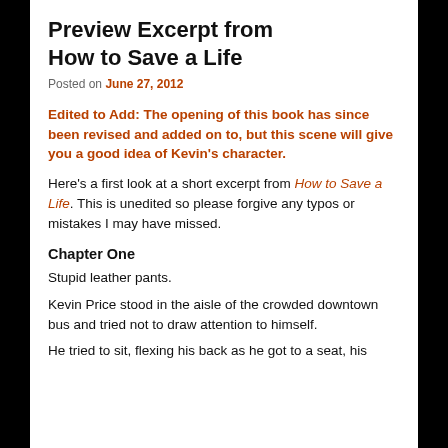Preview Excerpt from How to Save a Life
Posted on June 27, 2012
Edited to Add: The opening of this book has since been revised and added on to, but this scene will give you a good idea of Kevin's character.
Here's a first look at a short excerpt from How to Save a Life. This is unedited so please forgive any typos or mistakes I may have missed.
Chapter One
Stupid leather pants.
Kevin Price stood in the aisle of the crowded downtown bus and tried not to draw attention to himself.
He tried to sit, flexing his back as he got to a seat, his...